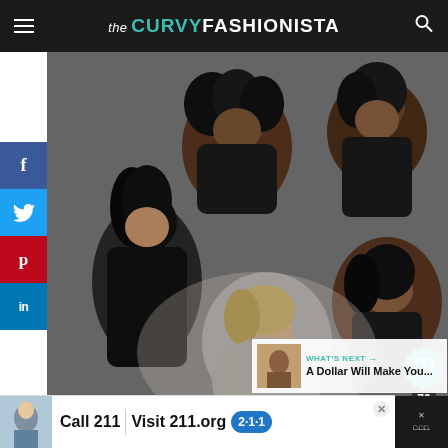the CURVY FASHIONISTA
[Figure (photo): Five curvy women of diverse ethnicities lying together in a circle formation on a light background, smiling and laughing, all wearing black clothing/swimwear]
[Figure (infographic): Social media share sidebar with Facebook, Twitter, Pinterest, and LinkedIn buttons]
[Figure (infographic): Like button (teal heart icon, count 70) and share button overlay on the photo]
[Figure (infographic): What's Next panel with thumbnail and text: A Dollar Will Make You...]
[Figure (infographic): Advertisement banner: Call 211 | Visit 211.org with 2-1-1 badge]